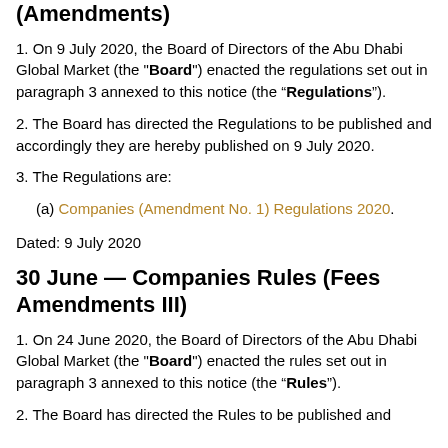(Amendments)
1. On 9 July 2020, the Board of Directors of the Abu Dhabi Global Market (the "Board") enacted the regulations set out in paragraph 3 annexed to this notice (the “Regulations”).
2. The Board has directed the Regulations to be published and accordingly they are hereby published on 9 July 2020.
3. The Regulations are:
(a) Companies (Amendment No. 1) Regulations 2020.
Dated: 9 July 2020
30 June — Companies Rules (Fees Amendments III)
1. On 24 June 2020, the Board of Directors of the Abu Dhabi Global Market (the "Board") enacted the rules set out in paragraph 3 annexed to this notice (the “Rules”).
2. The Board has directed the Rules to be published and